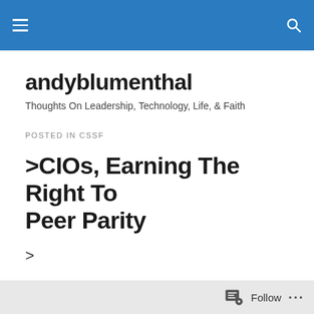andyblumenthal
andyblumenthal
Thoughts On Leadership, Technology, Life, & Faith
POSTED IN CSSF
>CIOs, Earning The Right To Peer Parity
>
There are a lot of jokes about being a CIO—it is